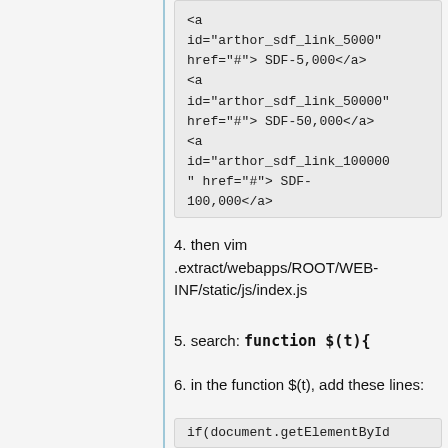<a id="arthor_sdf_link_5000" href="#"> SDF-5,000</a>
                    <a id="arthor_sdf_link_50000" href="#"> SDF-50,000</a>
                    <a id="arthor_sdf_link_100000" href="#"> SDF-100,000</a>
                    <a id="arthor_sdf_link_max" href="#"> SDF-max</a>
4. then vim .extract/webapps/ROOT/WEB-INF/static/js/index.js
5. search: function $(t){
6. in the function $(t), add these lines:
if(document.getElementById